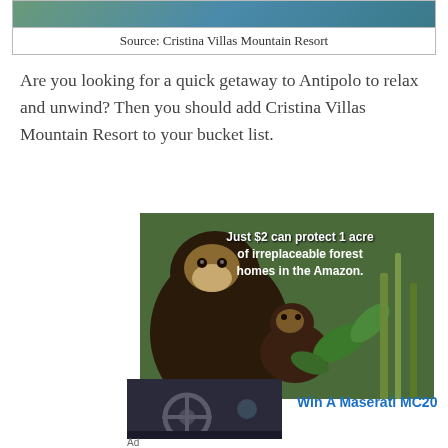[Figure (photo): Top strip of a resort photo showing tropical greenery and blue water]
Source: Cristina Villas Mountain Resort
Are you looking for a quick getaway to Antipolo to relax and unwind? Then you should add Cristina Villas Mountain Resort to your bucket list.
[Figure (photo): Advertisement photo of monkeys in a forest with text: Just $2 can protect 1 acre of irreplaceable forest homes in the Amazon.]
[Figure (photo): Advertisement showing car interior with text: Win A Maserati MC20]